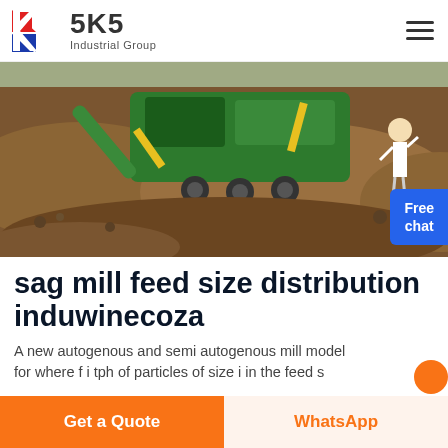SKS Industrial Group
[Figure (photo): Outdoor industrial scene showing green mobile crushing/screening machinery on a large mound of brown earth and gravel, with a female figure in white on the right side]
sag mill feed size distribution induwinecoza
A new autogenous and semi autogenous mill model for where f i tph of particles of size i in the feed s